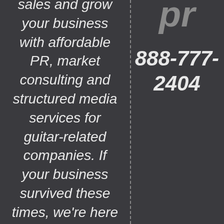sales and grow your business with affordable PR, market consulting and structured media services for guitar-related companies. If your business survived these times, we're here to help with your future... right now!
[Figure (logo): Logo letters 'pr' in large bold italic gray text]
888-777-2404